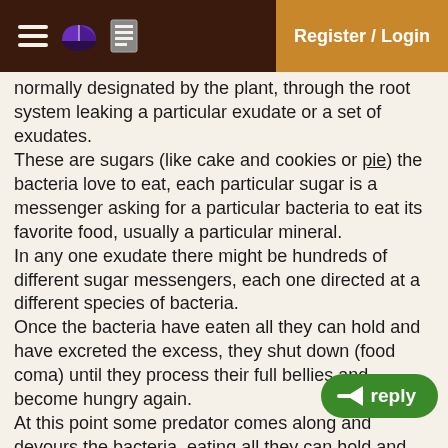Register / Login
...normally designated by the plant, through the root system leaking a particular exudate or a set of exudates.
These are sugars (like cake and cookies or pie) the bacteria love to eat, each particular sugar is a messenger asking for a particular bacteria to eat its favorite food, usually a particular mineral.
In any one exudate there might be hundreds of different sugar messengers, each one directed at a different species of bacteria.
Once the bacteria have eaten all they can hold and have excreted the excess, they shut down (food coma) until they process their full bellies and become hungry again.
At this point some predator comes along and devours the bacteria, eating all they can hold and excreting the excess, and another predator of that predator comes to feed and so on.
All during this frenzy of eat, poop, be eaten, the plant roots begin sucking up the nutrient minerals it asked for ...